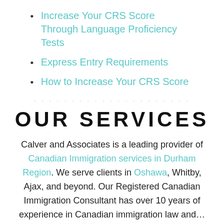Increase Your CRS Score Through Language Proficiency Tests
Express Entry Requirements
How to Increase Your CRS Score
OUR SERVICES
Calver and Associates is a leading provider of Canadian Immigration services in Durham Region. We serve clients in Oshawa, Whitby, Ajax, and beyond. Our Registered Canadian Immigration Consultant has over 10 years of experience in Canadian immigration law and…